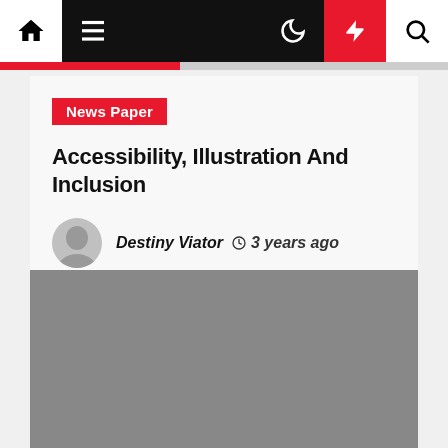Navigation bar with home, menu, moon, flash, and search icons
News Paper
Accessibility, Illustration And Inclusion
Destiny Viator  3 years ago
[Figure (photo): Large gray image placeholder below the article header]